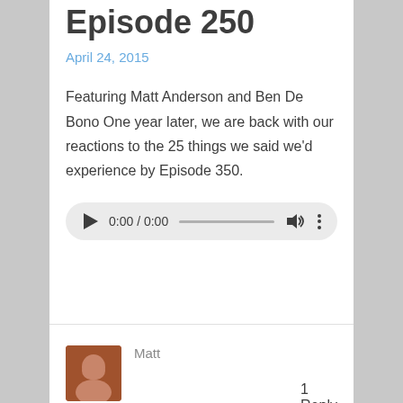Episode 250
April 24, 2015
Featuring Matt Anderson and Ben De Bono One year later, we are back with our reactions to the 25 things we said we'd experience by Episode 350.
[Figure (other): Audio player widget showing 0:00 / 0:00 with play button, progress bar, volume and more options icons]
Matt
1 Reply